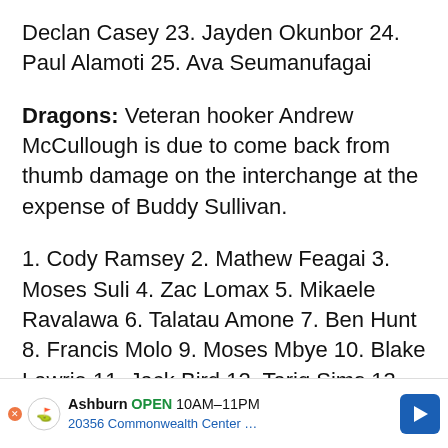Declan Casey 23. Jayden Okunbor 24. Paul Alamoti 25. Ava Seumanufagai
Dragons: Veteran hooker Andrew McCullough is due to come back from thumb damage on the interchange at the expense of Buddy Sullivan.
1. Cody Ramsey 2. Mathew Feagai 3. Moses Suli 4. Zac Lomax 5. Mikaele Ravalawa 6. Talatau Amone 7. Ben Hunt 8. Francis Molo 9. Moses Mbye 10. Blake Lawrie 11. Jack Bird 12. Tariq Sims 13. Jack de Belin 14. Andrew McCullough 15. Aaron Woods 16. Michael Molo... vski 18. T...